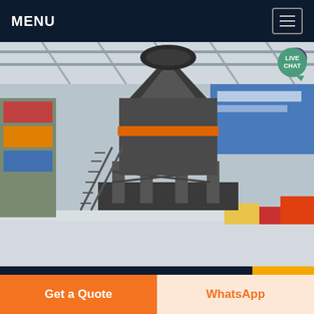MENU
[Figure (photo): Industrial machinery — large cone crusher or similar heavy equipment on a factory/exhibition floor with steel structure, stairs, and colorful machinery in the background.]
Feeders | Grizzly Feeders | Conv...
GRIZZLY FEEDER. Our Grizzly Feeders are designed for high capacities up to 1000TPH in
Get a Quote
WhatsApp